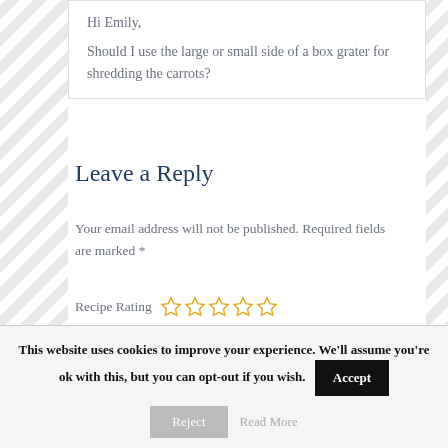Hi Emily,

Should I use the large or small side of a box grater for shredding the carrots?
Leave a Reply
Your email address will not be published. Required fields are marked *
Recipe Rating ☆☆☆☆☆
This website uses cookies to improve your experience. We'll assume you're ok with this, but you can opt-out if you wish. Accept Reject Read More